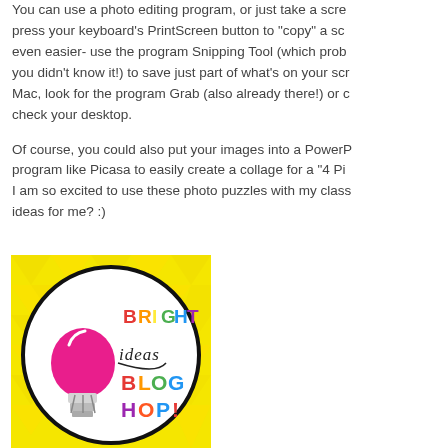You can use a photo editing program, or just take a screenshot- press your keyboard's PrintScreen button to "copy" a screenshot, or even easier- use the program Snipping Tool (which probably you didn't know it!) to save just part of what's on your screen. On a Mac, look for the program Grab (also already there!) or check your desktop.
Of course, you could also put your images into a PowerPoint or program like Picasa to easily create a collage for a "4 Pic" puzzle. I am so excited to use these photo puzzles with my class! Any ideas for me? :)
[Figure (logo): Bright Ideas Blog Hop logo: circular badge on yellow geometric background with colorful text 'BRIGHT ideas BLOG HOP!' and a pink lightbulb graphic]